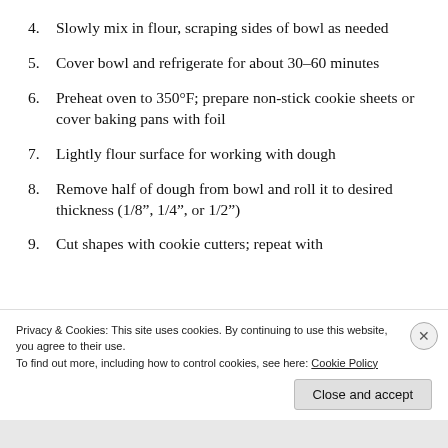4. Slowly mix in flour, scraping sides of bowl as needed
5. Cover bowl and refrigerate for about 30–60 minutes
6. Preheat oven to 350°F; prepare non-stick cookie sheets or cover baking pans with foil
7. Lightly flour surface for working with dough
8. Remove half of dough from bowl and roll it to desired thickness (1/8", 1/4", or 1/2")
9. Cut shapes with cookie cutters; repeat with
Privacy & Cookies: This site uses cookies. By continuing to use this website, you agree to their use.
To find out more, including how to control cookies, see here: Cookie Policy
Close and accept